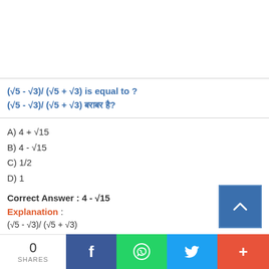(√5 - √3)/ (√5 + √3) is equal to ? (√5 - √3)/ (√5 + √3) बराबर है?
A) 4 + √15
B) 4 - √15
C) 1/2
D) 1
Correct Answer : 4 - √15
Explanation : (√5 - √3)/ (√5 + √3)
0 SHARES